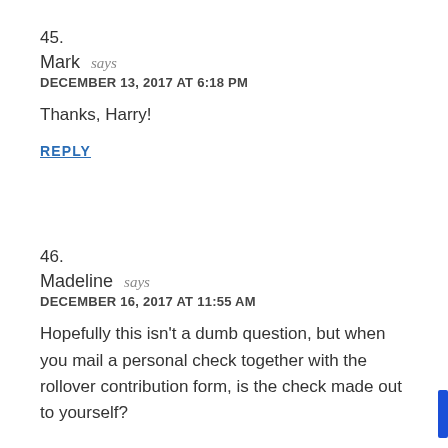45.
Mark says
DECEMBER 13, 2017 AT 6:18 PM
Thanks, Harry!
REPLY
46.
Madeline says
DECEMBER 16, 2017 AT 11:55 AM
Hopefully this isn’t a dumb question, but when you mail a personal check together with the rollover contribution form, is the check made out to yourself?
I’m guessing so since it’s going into your own HSA account. We’re about to do a rollover from BB&T to